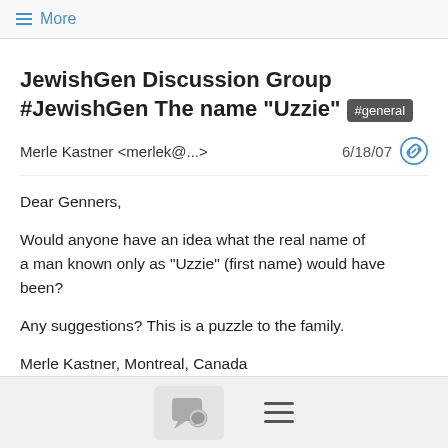≡ More
JewishGen Discussion Group #JewishGen The name "Uzzie" #general
Merle Kastner <merlek@...>   6/18/07
Dear Genners,

Would anyone have an idea what the real name of a man known only as "Uzzie" (first name) would have been?

Any suggestions?  This is a puzzle to the family.

Merle Kastner, Montreal, Canada
merlek@...
KASTNER & OSTFELD, Radauti, Bukovina;
NATHANSON & MENDELSSOHN, Piatra Neamt, Negulesti,